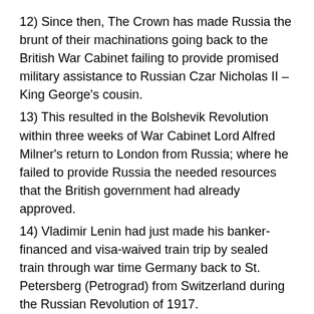12) Since then, The Crown has made Russia the brunt of their machinations going back to the British War Cabinet failing to provide promised military assistance to Russian Czar Nicholas II – King George's cousin.
13) This resulted in the Bolshevik Revolution within three weeks of War Cabinet Lord Alfred Milner's return to London from Russia; where he failed to provide Russia the needed resources that the British government had already approved.
14) Vladimir Lenin had just made his banker-financed and visa-waived train trip by sealed train through war time Germany back to St. Petersberg (Petrograd) from Switzerland during the Russian Revolution of 1917.
15) Lenin immediately arranged the execution of the Czar and his family (Jul. 17, 1917) as one of his first acts of treachery.